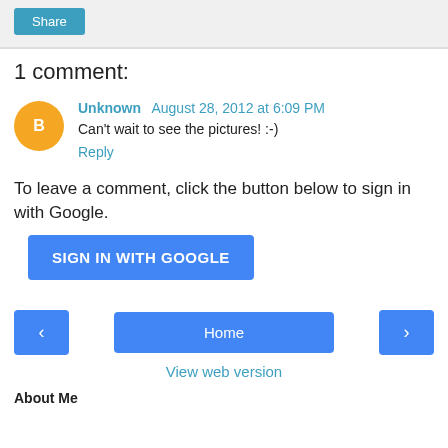[Figure (screenshot): Share button in a light gray bar at the top of the page]
1 comment:
Unknown August 28, 2012 at 6:09 PM
Can't wait to see the pictures! :-)
Reply
To leave a comment, click the button below to sign in with Google.
[Figure (screenshot): SIGN IN WITH GOOGLE button]
[Figure (screenshot): Navigation bar with left arrow, Home, and right arrow buttons]
View web version
About Me